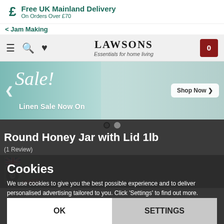£ Free UK Mainland Delivery – On Orders Over £70
< Jam Making
LAWSONS – Essentials for home living
[Figure (photo): Promotional banner showing 'Sale! Linen Sale Now On' with a bedroom/linen background, left and right navigation arrows, and a 'Shop Now' button]
[Figure (other): Carousel indicator dots, one filled dark and one outlined]
Round Honey Jar with Lid 1lb
(1 Review)
[Figure (photo): Product thumbnail image with UK flag icon, copyright circle logo, and MULTI-P label]
Cookies
We use cookies to give you the best possible experience and to deliver personalised advertising tailored to you. Click 'Settings' to find out more.
OK
SETTINGS